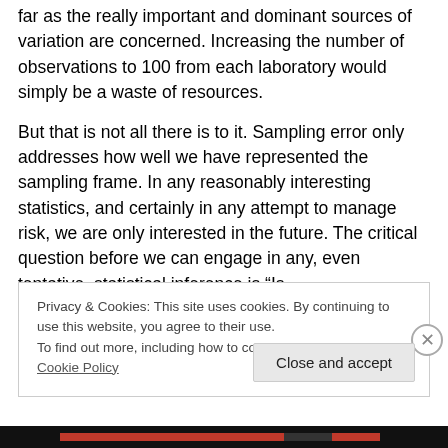far as the really important and dominant sources of variation are concerned. Increasing the number of observations to 100 from each laboratory would simply be a waste of resources.
But that is not all there is to it. Sampling error only addresses how well we have represented the sampling frame. In any reasonably interesting statistics, and certainly in any attempt to manage risk, we are only interested in the future. The critical question before we can engage in any, even tentative, statistical inference is “Is
Privacy & Cookies: This site uses cookies. By continuing to use this website, you agree to their use.
To find out more, including how to control cookies, see here: Cookie Policy